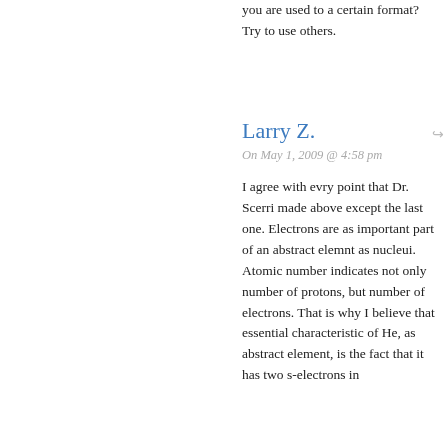you are used to a certain format? Try to use others.
Larry Z.
On May 1, 2009 @ 4:58 pm
I agree with evry point that Dr. Scerri made above except the last one. Electrons are as important part of an abstract elemnt as nucleui. Atomic number indicates not only number of protons, but number of electrons. That is why I believe that essential characteristic of He, as abstract element, is the fact that it has two s-electrons in